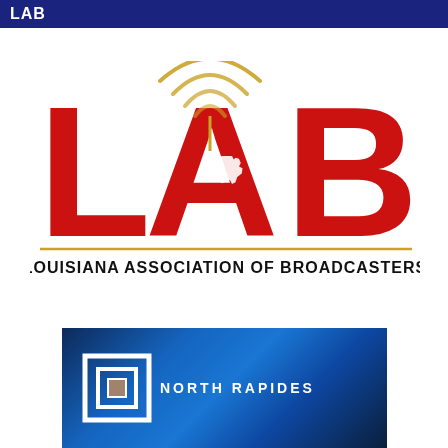LAB
[Figure (logo): Louisiana Association of Broadcasters logo: large red letters L-A-B with gold radio wave arcs above the A letter, white Louisiana state silhouette inside the A, gold horizontal line beneath, and text LOUISIANA ASSOCIATION OF BROADCASTERS below]
[Figure (logo): North Rapides logo on a dark blue abstract background with concentric square frames and a chip/processor icon, text NORTH RAPIDES in white capital letters]